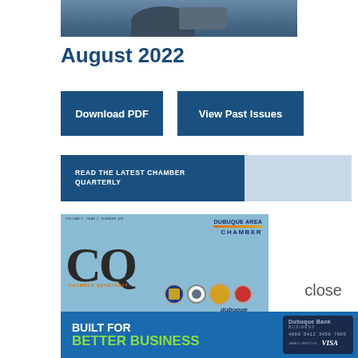[Figure (photo): Partial view of a person in a suit, cropped at top of page]
August 2022
Download PDF
View Past Issues
READ THE LATEST CHAMBER QUARTERLY
[Figure (illustration): Cover of Chamber Quarterly magazine showing CQ letters and Dubuque Area Chamber logo with badge icons]
[Figure (illustration): Advertisement banner reading BUILT FOR BETTER BUSINESS with Dubuque Bank card image]
close